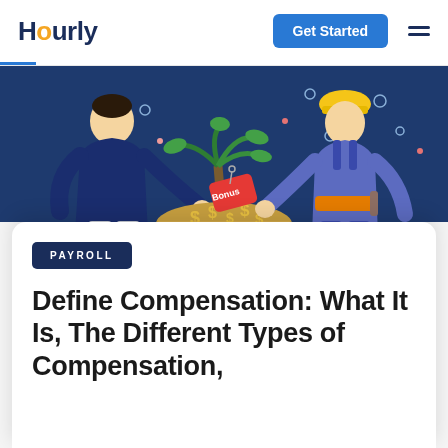Hourly | Get Started
[Figure (illustration): Two illustrated cartoon characters on a dark blue background tugging at a large basket/bowl overflowing with money (dollar signs and a red 'Bonus' tag), with a palm tree in the middle.]
PAYROLL
Define Compensation: What It Is, The Different Types of Compensation,